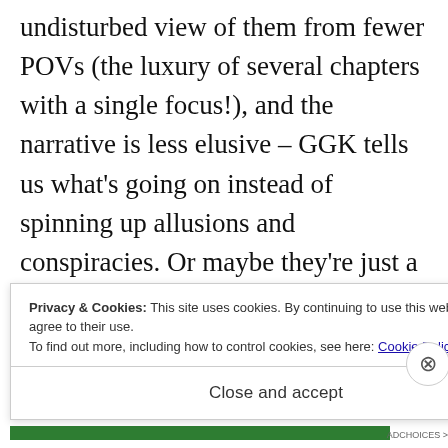undisturbed view of them from fewer POVs (the luxury of several chapters with a single focus!), and the narrative is less elusive – GGK tells us what's going on instead of spinning up allusions and conspiracies. Or maybe they're just a more direct culture, and the narrative mimics that. Either way, so lovable. As is Davor.
Privacy & Cookies: This site uses cookies. By continuing to use this website, you agree to their use. To find out more, including how to control cookies, see here: Cookie Policy
Close and accept